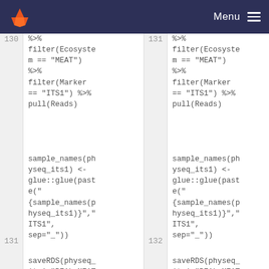Menu
%>%
filter(Ecosystem == "MEAT")
%>%
filter(Marker == "ITS1") %>%
pull(Reads)

sample_names(physeq_its1) <-
glue::glue(paste("
{sample_names(physeq_its1)}","ITS1",
sep="_"))

saveRDS(physeq_its1,"REAL_MEAT/ITS1.rds")
%>%
filter(Ecosystem == "MEAT")
%>%
filter(Marker == "ITS1") %>%
pull(Reads)

sample_names(physeq_its1) <-
glue::glue(paste("
{sample_names(physeq_its1)}","ITS1",
sep="_"))

saveRDS(physeq_its1,"REAL_MEAT/ITS1.rds")